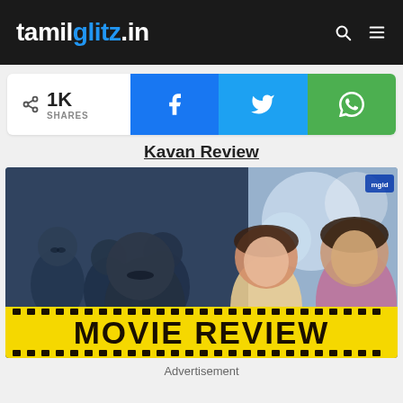tamilglitz.in
1K SHARES (social share bar with Facebook, Twitter, WhatsApp)
Kavan Review
[Figure (photo): Movie poster for Kavan showing cast members on left in blue-tinted black and white, with lead actress and hero on right in color. Yellow film-strip banner reads MOVIE REVIEW in bold black text.]
Advertisement